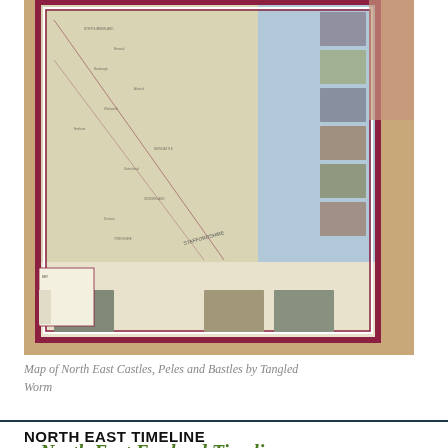[Figure (photo): A photograph of a printed map of North East Castles, Peles and Bastles by Tangled Worm, laid on a wooden table. The map features a red/maroon border, geographical features in pale greens and blues, with place names and castle markers throughout. Small photographic inserts appear around the border of the map.]
Map of North East Castles, Peles and Bastles by Tangled Worm
NORTH EAST TIMELINE
[Figure (infographic): North East England Timeline 10,000 BC to the 21st century. Click in the segments to discover the events and history for each period. Green decorative banner/header graphic.]